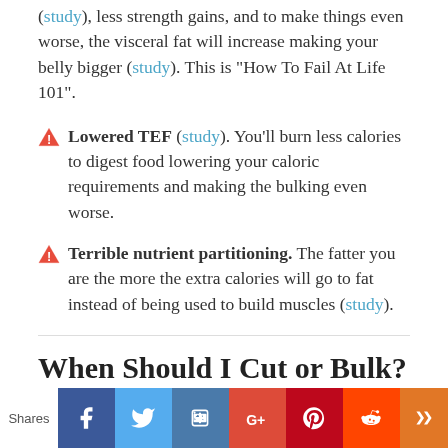(study), less strength gains, and to make things even worse, the visceral fat will increase making your belly bigger (study). This is "How To Fail At Life 101".
⚠ Lowered TEF (study). You'll burn less calories to digest food lowering your caloric requirements and making the bulking even worse.
⚠ Terrible nutrient partitioning. The fatter you are the more the extra calories will go to fat instead of being used to build muscles (study).
When Should I Cut or Bulk?
[Figure (infographic): Social sharing bar with icons for Facebook, Twitter, Like/thumbs-up, Google+, Pinterest, Reddit, and an additional share button. 'Shares' label on the left.]